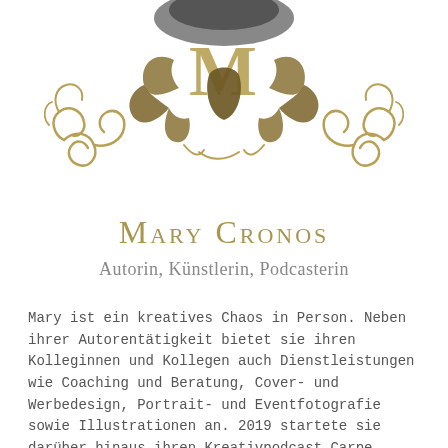[Figure (logo): Ornate golden/dark fantasy logo with stylized dragon and letter M, flanked by decorative scrollwork curls, partially overlapping a photo of a person at the top]
Mary Cronos
Autorin, Künstlerin, Podcasterin
Mary ist ein kreatives Chaos in Person. Neben ihrer Autorentätigkeit bietet sie ihren Kolleginnen und Kollegen auch Dienstleistungen wie Coaching und Beratung, Cover- und Werbedesign, Portrait- und Eventfotografie sowie Illustrationen an. 2019 startete sie darüber hinaus ihren Kreativpodcast Carpe Artes und 2020 mit Sabrina Schuh Fakriro – die Messebühne für Selfpublisher, die inzwischen durch zahlreiche